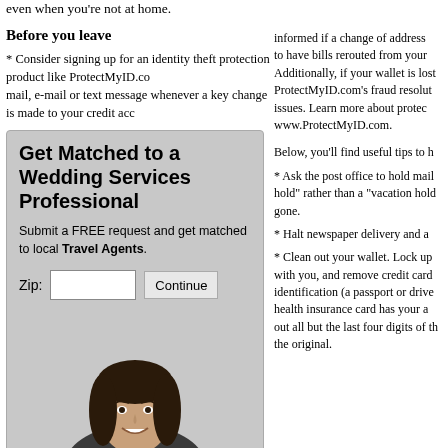even when you're not at home.
Before you leave
* Consider signing up for an identity theft protection product like ProtectMyID.co... mail, e-mail or text message whenever a key change is made to your credit acc... informed if a change of address... to have bills rerouted from your... Additionally, if your wallet is lost... ProtectMyID.com's fraud resolu... issues. Learn more about prote... www.ProtectMyID.com.
[Figure (infographic): Advertisement box: Get Matched to a Wedding Services Professional. Submit a FREE request and get matched to local Travel Agents. Zip input field and Continue button. Photo of a smiling professional woman in a blazer.]
Below, you'll find useful tips to h...
* Ask the post office to hold mail... hold" rather than a "vacation hol... gone.
* Halt newspaper delivery and a...
* Clean out your wallet. Lock up... with you, and remove credit car... identification (a passport or driv... health insurance card has your ... out all but the last four digits of t... the original.